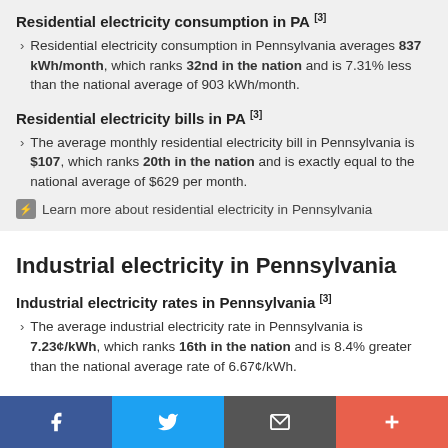Residential electricity consumption in PA [3]
Residential electricity consumption in Pennsylvania averages 837 kWh/month, which ranks 32nd in the nation and is 7.31% less than the national average of 903 kWh/month.
Residential electricity bills in PA [3]
The average monthly residential electricity bill in Pennsylvania is $107, which ranks 20th in the nation and is exactly equal to the national average of $629 per month.
Learn more about residential electricity in Pennsylvania
Industrial electricity in Pennsylvania
Industrial electricity rates in Pennsylvania [3]
The average industrial electricity rate in Pennsylvania is 7.23¢/kWh, which ranks 16th in the nation and is 8.4% greater than the national average rate of 6.67¢/kWh.